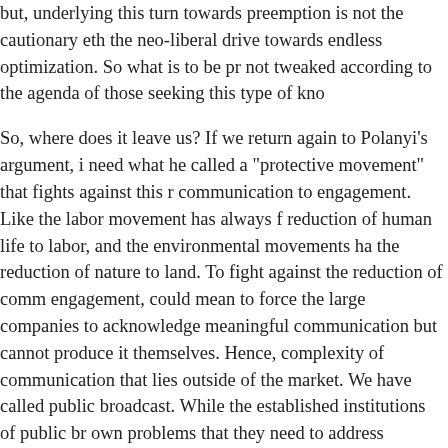but, underlying this turn towards preemption is not the cautionary eth the neo-liberal drive towards endless optimization. So what is to be pr not tweaked according to the agenda of those seeking this type of kno So, where does it leave us? If we return again to Polanyi's argument, i need what he called a "protective movement" that fights against this r communication to engagement. Like the labor movement has always f reduction of human life to labor, and the environmental movements ha the reduction of nature to land. To fight against the reduction of comm engagement, could mean to force the large companies to acknowledge meaningful communication but cannot produce it themselves. Hence, complexity of communication that lies outside of the market. We have called public broadcast. While the established institutions of public br own problems that they need to address urgently, the basic principle, t society needs sources of information that are independent of both the could easily be applied to digital communication as well. There is eno social media companies are fantastically profitable and it's time they ecosystem from which they extract their commodities. Rather than pa